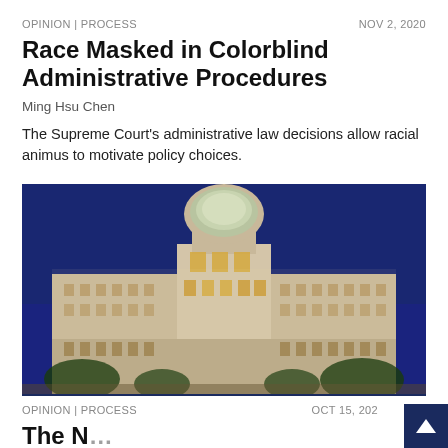OPINION | PROCESS  NOV 2, 2020
Race Masked in Colorblind Administrative Procedures
Ming Hsu Chen
The Supreme Court's administrative law decisions allow racial animus to motivate policy choices.
[Figure (photo): Night photograph of a large government building with a dome, illuminated against a deep blue twilight sky, with trees visible at the base.]
OPINION | PROCESS  OCT 15, 202...